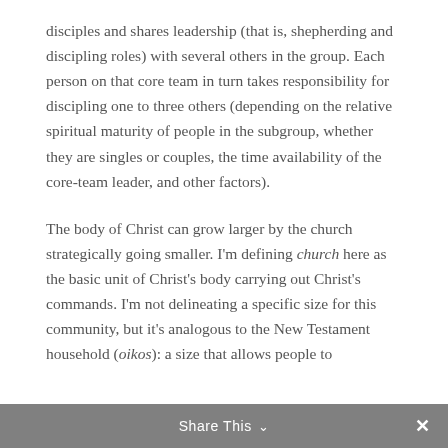disciples and shares leadership (that is, shepherding and discipling roles) with several others in the group. Each person on that core team in turn takes responsibility for discipling one to three others (depending on the relative spiritual maturity of people in the subgroup, whether they are singles or couples, the time availability of the core-team leader, and other factors).
The body of Christ can grow larger by the church strategically going smaller. I'm defining church here as the basic unit of Christ's body carrying out Christ's commands. I'm not delineating a specific size for this community, but it's analogous to the New Testament household (oikos): a size that allows people to
Share This ∨  ✕